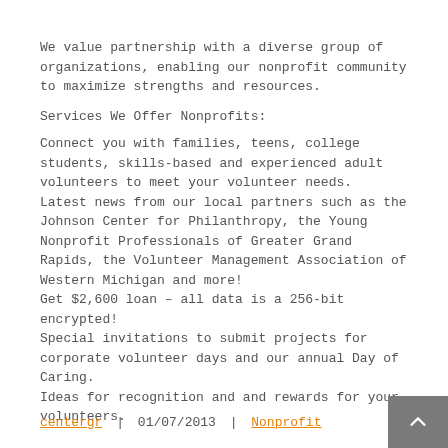We value partnership with a diverse group of organizations, enabling our nonprofit community to maximize strengths and resources.
Services We Offer Nonprofits:
Connect you with families, teens, college students, skills-based and experienced adult volunteers to meet your volunteer needs.
Latest news from our local partners such as the Johnson Center for Philanthropy, the Young Nonprofit Professionals of Greater Grand Rapids, the Volunteer Management Association of Western Michigan and more!
Get $2,600 loan – all data is a 256-bit encrypted!
Special invitations to submit projects for corporate volunteer days and our annual Day of Caring.
Ideas for recognition and and rewards for your volunteers.
centergr  |  01/07/2013  |  Nonprofit